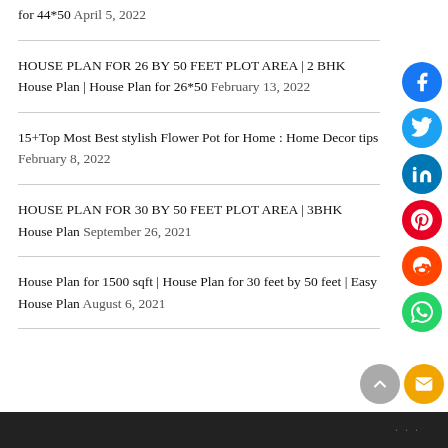for 44*50 April 5, 2022
HOUSE PLAN FOR 26 BY 50 FEET PLOT AREA | 2 BHK House Plan | House Plan for 26*50 February 13, 2022
15+Top Most Best stylish Flower Pot for Home : Home Decor tips February 8, 2022
HOUSE PLAN FOR 30 BY 50 FEET PLOT AREA | 3BHK House Plan September 26, 2021
House Plan for 1500 sqft | House Plan for 30 feet by 50 feet | Easy House Plan August 6, 2021